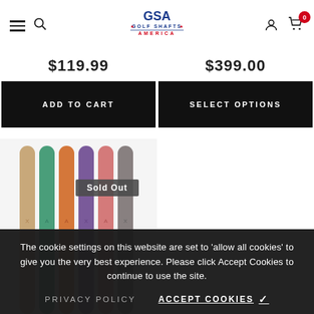GSA Golf Shafts America navigation bar with hamburger menu, search, logo, account, and cart (0 items)
$119.99
$399.00
ADD TO CART
SELECT OPTIONS
[Figure (photo): Colorful golf grip samples in tan, green, orange, purple, red, and gray, shown as vertical rods fanned out]
Sold Out
The cookie settings on this website are set to 'allow all cookies' to give you the very best experience. Please click Accept Cookies to continue to use the site.
PRIVACY POLICY
ACCEPT COOKIES ✓